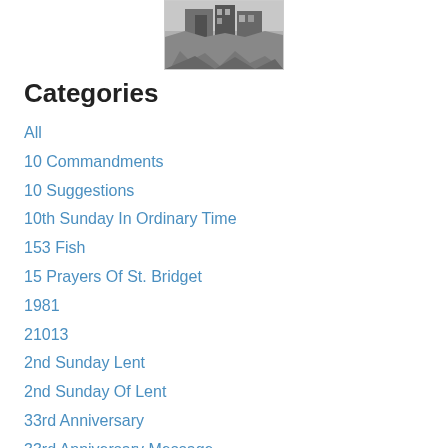[Figure (photo): A black and white photo of a building or structure with rubble/construction debris in the foreground.]
Categories
All
10 Commandments
10 Suggestions
10th Sunday In Ordinary Time
153 Fish
15 Prayers Of St. Bridget
1981
21013
2nd Sunday Lent
2nd Sunday Of Lent
33rd Anniversary
33rd Anniversary Message
37th Charismatic Convocation
4th Sunday Of Easter
5000 Men
72 Disciples
7 Gifts